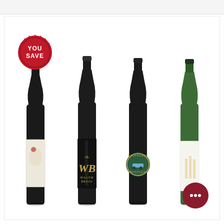[Figure (photo): Four wine bottles displayed side by side on a white background. From left to right: a dark bottle with a floral label and a red wax 'YOU SAVE' seal badge in upper left, a dark bottle with 'Willow Brook' label with gold decorative script, a dark bottle with a 'Backroads Bootleg' circular label featuring a vintage car, and a green wine bottle with a white label and a dark red chat bubble icon at the bottom right.]